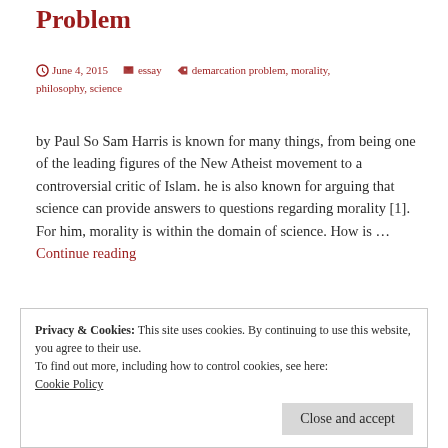Problem
June 4, 2015   essay   demarcation problem, morality, philosophy, science
by Paul So Sam Harris is known for many things, from being one of the leading figures of the New Atheist movement to a controversial critic of Islam. he is also known for arguing that science can provide answers to questions regarding morality [1]. For him, morality is within the domain of science. How is … Continue reading
Privacy & Cookies: This site uses cookies. By continuing to use this website, you agree to their use.
To find out more, including how to control cookies, see here: Cookie Policy
Close and accept